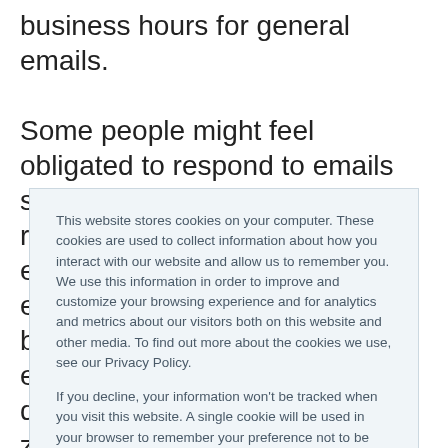business hours for general emails. Some people might feel obligated to respond to emails sent after work hours and can resent the fact that you're emailing them during their evening family time. Just because you might work in the evening doesn't mean everyone does (consider different time zones as well)
This website stores cookies on your computer. These cookies are used to collect information about how you interact with our website and allow us to remember you. We use this information in order to improve and customize your browsing experience and for analytics and metrics about our visitors both on this website and other media. To find out more about the cookies we use, see our Privacy Policy.
If you decline, your information won't be tracked when you visit this website. A single cookie will be used in your browser to remember your preference not to be tracked.